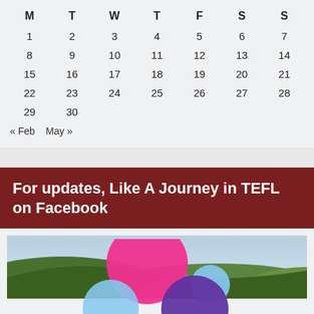| M | T | W | T | F | S | S |
| --- | --- | --- | --- | --- | --- | --- |
| 1 | 2 | 3 | 4 | 5 | 6 | 7 |
| 8 | 9 | 10 | 11 | 12 | 13 | 14 |
| 15 | 16 | 17 | 18 | 19 | 20 | 21 |
| 22 | 23 | 24 | 25 | 26 | 27 | 28 |
| 29 | 30 |  |  |  |  |  |
« Feb   May »
For updates, Like A Journey in TEFL on Facebook
[Figure (illustration): Landscape photo of green hills and road with overlaid colorful circles (pink, light blue, purple) and a Subscribe button in lower right]